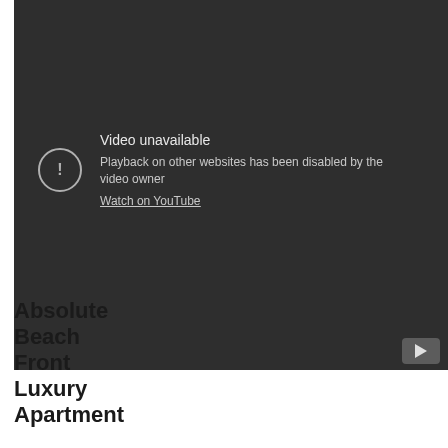[Figure (screenshot): YouTube embedded video player showing 'Video unavailable' error message. Dark gray background with a circular warning icon (exclamation mark), text reading 'Video unavailable', 'Playback on other websites has been disabled by the video owner', a 'Watch on YouTube' link, and a YouTube play button in the bottom right corner.]
Absolute Beach Front Luxury Apartment